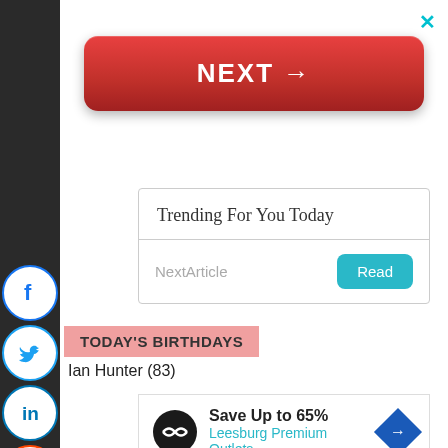[Figure (screenshot): Red NEXT button with right arrow]
×
Trending For You Today
NextArticle
Read
TODAY'S BIRTHDAYS
Ian Hunter (83)
Save Up to 65%
Leesburg Premium Outlets